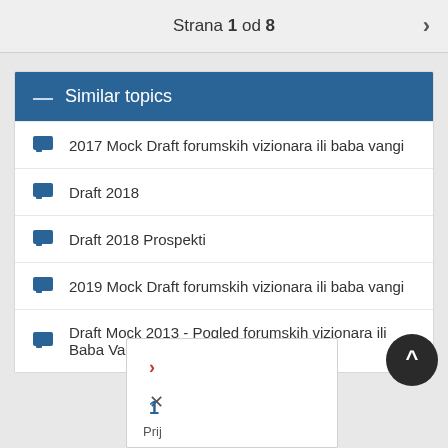Strana 1 od 8
Similar topics
2017 Mock Draft forumskih vizionara ili baba vangi
Draft 2018
Draft 2018 Prospekti
2019 Mock Draft forumskih vizionara ili baba vangi
Draft Mock 2013 - Pogled forumskih vizionara ili Baba Vangi
Prij